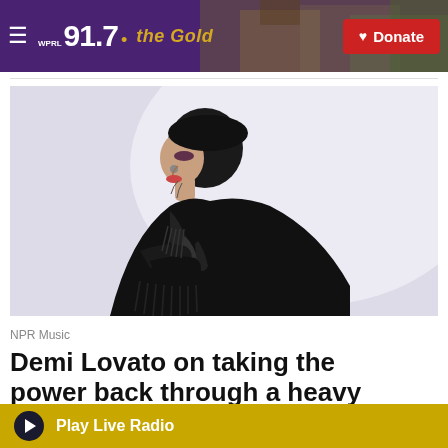91.7 WPRL the Gold — Donate
[Figure (photo): Profile portrait of Demi Lovato wearing a black feathered/leather outfit, shot against a light background, side profile view with short dark hair]
NPR Music
Demi Lovato on taking the power back through a heavy
Play Live Radio